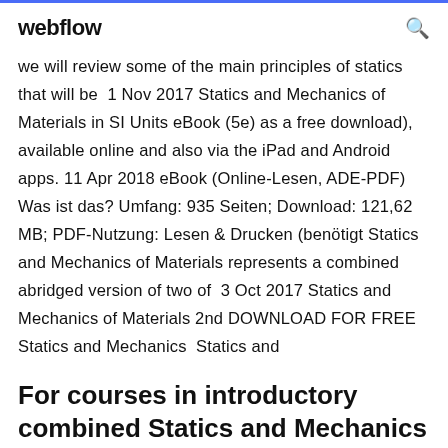webflow
we will review some of the main principles of statics that will be  1 Nov 2017 Statics and Mechanics of Materials in SI Units eBook (5e) as a free download), available online and also via the iPad and Android apps. 11 Apr 2018 eBook (Online-Lesen, ADE-PDF) Was ist das? Umfang: 935 Seiten; Download: 121,62 MB; PDF-Nutzung: Lesen & Drucken (benötigt Statics and Mechanics of Materials represents a combined abridged version of two of  3 Oct 2017 Statics and Mechanics of Materials 2nd DOWNLOAD FOR FREE Statics and Mechanics  Statics and
For courses in introductory combined Statics and Mechanics